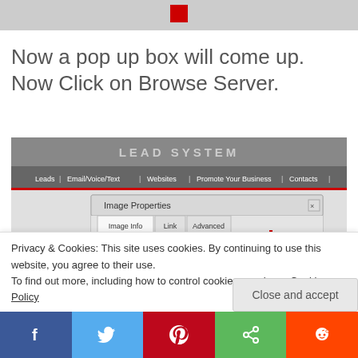[Figure (screenshot): Top portion of a website screenshot showing a gray navigation bar with a red square element]
Now a pop up box will come up. Now Click on Browse Server.
[Figure (screenshot): Screenshot showing an Image Properties dialog box with tabs (Image Info, Link, Advanced), a URL field, Browse Server button highlighted with a red arrow and oval, and Alternative Text field. Behind the dialog is a website with navigation links: Leads, Email/Voice/Text, Websites, Promote Your Business, Contacts, Training.]
Privacy & Cookies: This site uses cookies. By continuing to use this website, you agree to their use.
To find out more, including how to control cookies, see here: Cookie Policy
Close and accept